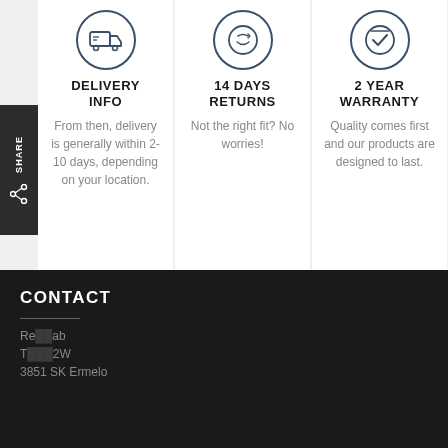[Figure (illustration): Delivery truck icon in circle]
DELIVERY INFO
From then, delivery is generally within 2-10 days, depending on your location.
[Figure (illustration): Smiley face icon in circle]
14 DAYS RETURNS
Not the right fit? No worries!
[Figure (illustration): Checkmark/warranty badge icon in circle]
2 YEAR WARRANTY
Quality comes first and our products are designed to last.
CONTACT
Re...ab
T...2W
3851 SK Ermelo